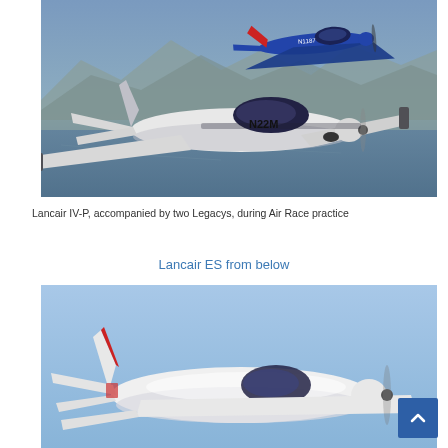[Figure (photo): Two aircraft in flight formation — foreground shows a white Lancair IV-P with registration N22M, background shows a blue Lancair Legacy with registration N1187, flying over mountainous terrain and water below.]
Lancair IV-P, accompanied by two Legacys, during Air Race practice
Lancair ES from below
[Figure (photo): A Lancair ES aircraft photographed from below/side against a blue sky. The plane is white with red accents on the tail, and the propeller is visible spinning at the nose.]